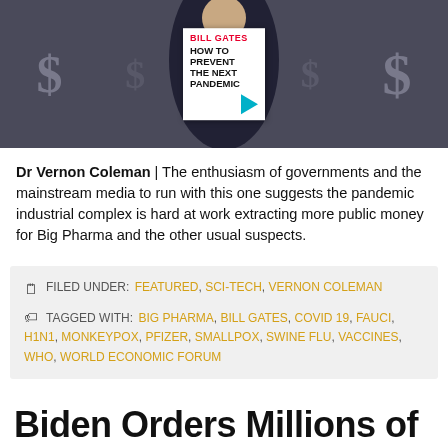[Figure (photo): Man holding a Bill Gates 'How to Prevent the Next Pandemic' book, with dollar signs in background]
Dr Vernon Coleman | The enthusiasm of governments and the mainstream media to run with this one suggests the pandemic industrial complex is hard at work extracting more public money for Big Pharma and the other usual suspects.
FILED UNDER: FEATURED, SCI-TECH, VERNON COLEMAN
TAGGED WITH: BIG PHARMA, BILL GATES, COVID 19, FAUCI, H1N1, MONKEYPOX, PFIZER, SMALLPOX, SWINE FLU, VACCINES, WHO, WORLD ECONOMIC FORUM
Biden Orders Millions of Monkeypox Vaccines After One Alleged 'Infection'